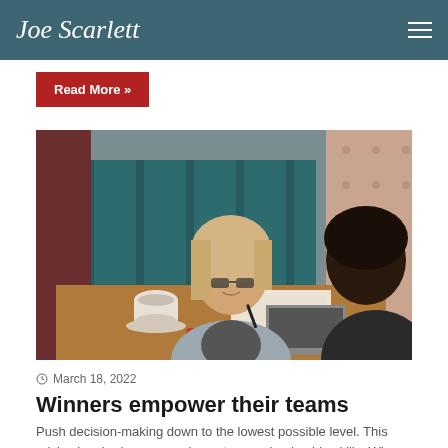Joe Scarlett
Read More »
[Figure (photo): Two women sitting at a restaurant/cafe table having a business meeting. One woman with blonde hair wearing glasses and a grey blazer, the other with dark curly hair, looking at documents together.]
March 18, 2022
Winners empower their teams
Push decision-making down to the lowest possible level. This advice has had enormous impact on my leadership skills. When I…